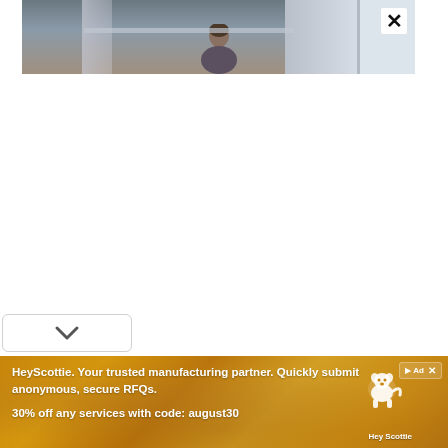[Figure (screenshot): Partial screenshot of a video or webpage showing a person near a window with curtains, partially visible at the top of the frame. A close (X) button appears in the upper right corner.]
[Figure (photo): White empty space area below the video/image thumbnail.]
[Figure (screenshot): A chevron/down-arrow button in a rounded rectangle at the lower left.]
[Figure (infographic): Advertisement banner for HeyScottie with golden/amber textured background. Text reads: HeyScottie. Your trusted manufacturing partner. Quickly submit anonymous, secure RFQs. 30% off any services with code: august30. A white dog silhouette logo is shown on the right with 'Hey Scottie' label. An Ad badge with X button appears in the top right.]